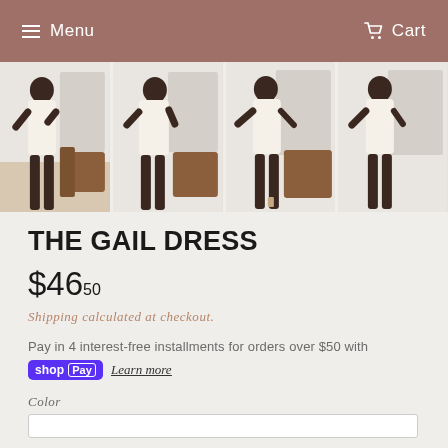Menu   Cart
[Figure (photo): Four product photos of a woman wearing a cream/white short dress, shown from behind/side angles with a brown leather chair and white wall background.]
THE GAIL DRESS
$46.50
Shipping calculated at checkout.
Pay in 4 interest-free installments for orders over $50 with shop Pay Learn more
Color